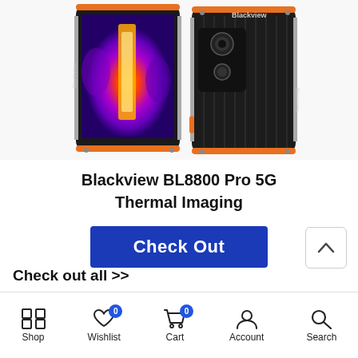[Figure (photo): Two Blackview BL8800 Pro 5G smartphones shown front and back. Left device shows thermal imaging camera view with purple/orange heat map on screen. Right device shows the back of the phone in black with orange accents.]
Blackview BL8800 Pro 5G Thermal Imaging
[Figure (other): Blue 'Check Out' button]
Check out all >>
Shop  Wishlist  Cart  Account  Search